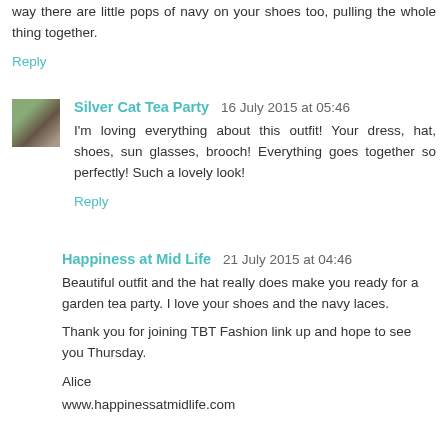way there are little pops of navy on your shoes too, pulling the whole thing together.
Reply
Silver Cat Tea Party  16 July 2015 at 05:46
I'm loving everything about this outfit! Your dress, hat, shoes, sun glasses, brooch! Everything goes together so perfectly! Such a lovely look!
Reply
Happiness at Mid Life  21 July 2015 at 04:46
Beautiful outfit and the hat really does make you ready for a garden tea party. I love your shoes and the navy laces.
Thank you for joining TBT Fashion link up and hope to see you Thursday.
Alice
www.happinessatmidlife.com